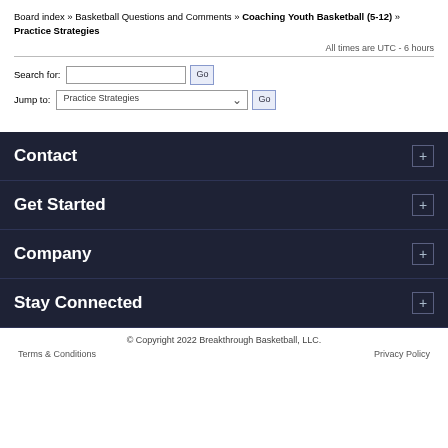Board index » Basketball Questions and Comments » Coaching Youth Basketball (5-12) » Practice Strategies
All times are UTC - 6 hours
Search for: [input] Go
Jump to: Practice Strategies ▼ Go
Contact
Get Started
Company
Stay Connected
© Copyright 2022 Breakthrough Basketball, LLC.
Terms & Conditions    Privacy Policy